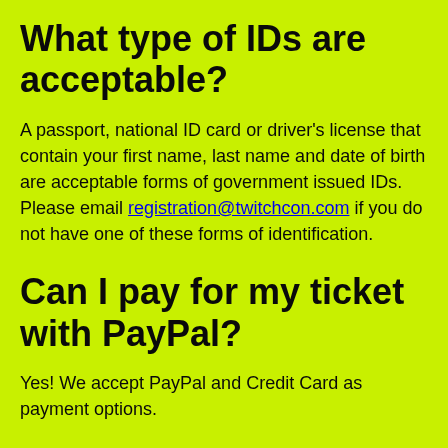What type of IDs are acceptable?
A passport, national ID card or driver's license that contain your first name, last name and date of birth are acceptable forms of government issued IDs. Please email registration@twitchcon.com if you do not have one of these forms of identification.
Can I pay for my ticket with PayPal?
Yes! We accept PayPal and Credit Card as payment options.